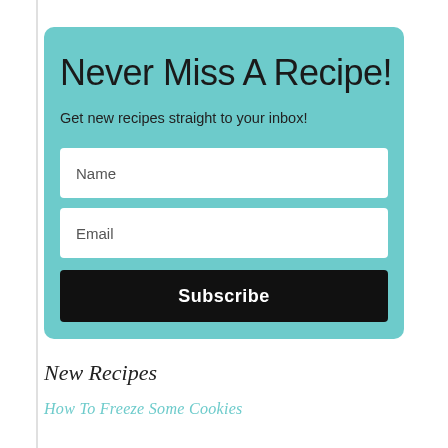Never Miss A Recipe!
Get new recipes straight to your inbox!
Name
Email
Subscribe
New Recipes
How To Freeze Some Cookies